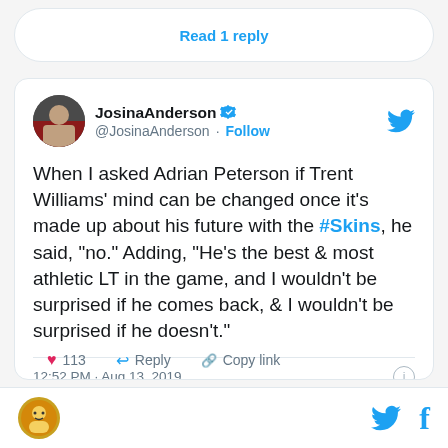Read 1 reply
[Figure (screenshot): Tweet by JosinaAnderson (@JosinaAnderson) with verified badge and Follow button. Tweet text: When I asked Adrian Peterson if Trent Williams' mind can be changed once it's made up about his future with the #Skins, he said, "no." Adding, "He's the best & most athletic LT in the game, and I wouldn't be surprised if he comes back, & I wouldn't be surprised if he doesn't." Timestamp: 12:52 PM · Aug 13, 2019. Shows 112 likes, Reply, and Copy link actions.]
Twitter and Facebook share icons with circular logo